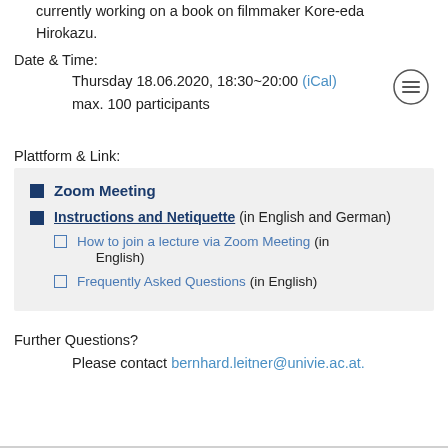currently working on a book on filmmaker Kore-eda Hirokazu.
Date & Time:
Thursday 18.06.2020, 18:30~20:00 (iCal)
max. 100 participants
Plattform & Link:
Zoom Meeting
Instructions and Netiquette (in English and German)
How to join a lecture via Zoom Meeting (in English)
Frequently Asked Questions (in English)
Further Questions?
Please contact bernhard.leitner@univie.ac.at.